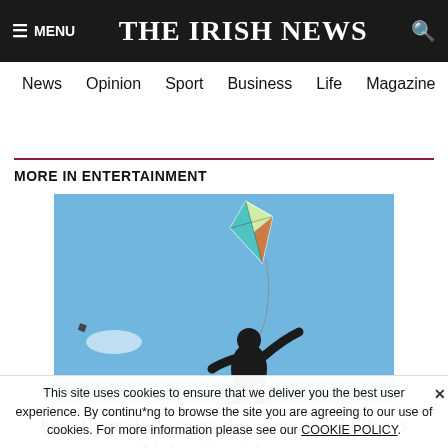≡ MENU   THE IRISH NEWS   🔍
News  Opinion  Sport  Business  Life  Magazine  Arts
MORE IN ENTERTAINMENT
[Figure (photo): A child silhouetted against a blue sky flying a colorful kite]
Kite-flying festival marks year since Taliban's Afghanistan takeover
This site uses cookies to ensure that we deliver you the best user experience. By continuing to browse the site you are agreeing to our use of cookies. For more information please see our COOKIE POLICY.